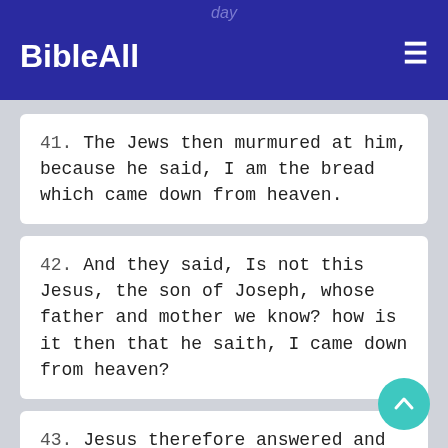day BibleAll
41. The Jews then murmured at him, because he said, I am the bread which came down from heaven.
42. And they said, Is not this Jesus, the son of Joseph, whose father and mother we know? how is it then that he saith, I came down from heaven?
43. Jesus therefore answered and said unto them, Murmur not among yourselves.